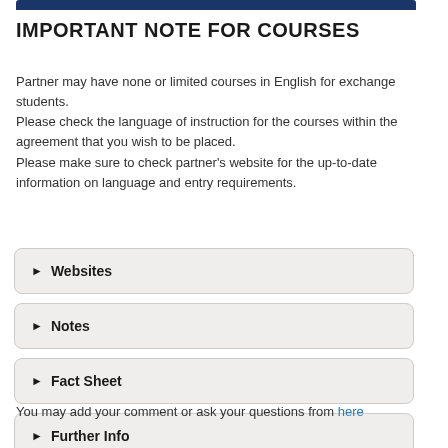IMPORTANT NOTE FOR COURSES
Partner may have none or limited courses in English for exchange students.
Please check the language of instruction for the courses within the agreement that you wish to be placed.
Please make sure to check partner's website for the up-to-date information on language and entry requirements.
► Websites
► Notes
► Fact Sheet
► Further Info
You may add your comment or ask your questions from here